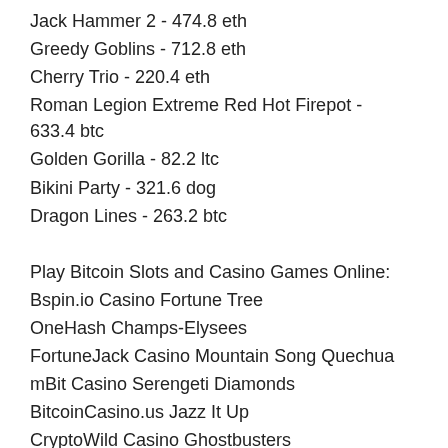Jack Hammer 2 - 474.8 eth
Greedy Goblins - 712.8 eth
Cherry Trio - 220.4 eth
Roman Legion Extreme Red Hot Firepot - 633.4 btc
Golden Gorilla - 82.2 ltc
Bikini Party - 321.6 dog
Dragon Lines - 263.2 btc
Play Bitcoin Slots and Casino Games Online:
Bspin.io Casino Fortune Tree
OneHash Champs-Elysees
FortuneJack Casino Mountain Song Quechua
mBit Casino Serengeti Diamonds
BitcoinCasino.us Jazz It Up
CryptoWild Casino Ghostbusters
King Billy Casino Wuxia Princess
1xBit Casino Cash Coaster
Bitcasino.io Evil Genotype